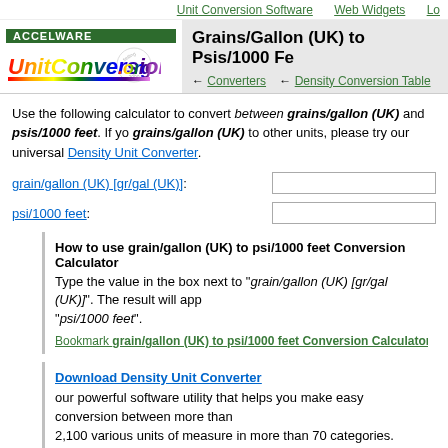Unit Conversion Software   Web Widgets   Lo...
[Figure (logo): ACCELWARE badge and UnitConversion.org rainbow logo]
Grains/Gallon (UK) to Psis/1000 Fe...
← Converters   ← Density Conversion Table
Use the following calculator to convert between grains/gallon (UK) and psis/1000 feet. If you want to convert grains/gallon (UK) to other units, please try our universal Density Unit Converter.
grain/gallon (UK) [gr/gal (UK)]:
psi/1000 feet:
How to use grain/gallon (UK) to psi/1000 feet Conversion Calculator
Type the value in the box next to "grain/gallon (UK) [gr/gal (UK)]". The result will app... "psi/1000 feet".
Bookmark grain/gallon (UK) to psi/1000 feet Conversion Calculator - you...
Download Density Unit Converter
our powerful software utility that helps you make easy conversion between more than 2,100 various units of measure in more than 70 categories. Discover a universal assistan... for all of your unit conversion needs - download the free demo version right away!